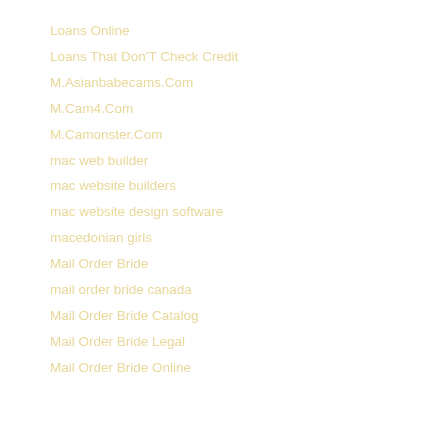Loans Online
Loans That Don'T Check Credit
M.Asianbabecams.Com
M.Cam4.Com
M.Camonster.Com
mac web builder
mac website builders
mac website design software
macedonian girls
Mail Order Bride
mail order bride canada
Mail Order Bride Catalog
Mail Order Bride Legal
Mail Order Bride Online